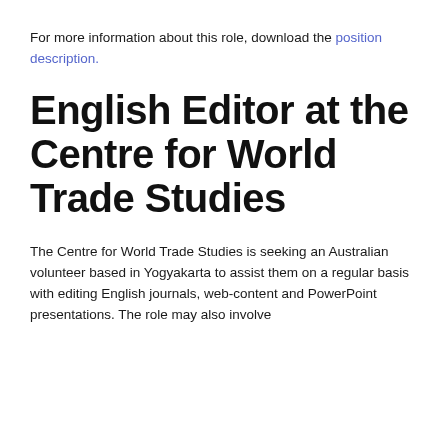For more information about this role, download the position description.
English Editor at the Centre for World Trade Studies
The Centre for World Trade Studies is seeking an Australian volunteer based in Yogyakarta to assist them on a regular basis with editing English journals, web-content and PowerPoint presentations. The role may also involve